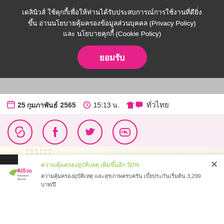เดลินิวส์ ใช้คุกกี้เพื่อให้ท่านได้รับประสบการณ์การใช้งานที่ดียิ่งขึ้น อ่านนโยบายคุ้มครองข้อมูลส่วนบุคคล (Privacy Policy) และ นโยบายคุกกี้ (Cookie Policy)
ยอมรับ
25 กุมภาพันธ์ 2565   15:13 น.   ทั่วไทย
[Figure (screenshot): Social share icons: link/copy icon (3), Facebook (3), Twitter (0), LINE (0)]
[Figure (screenshot): AIS 5G Insurance Service advertisement banner for ประกันอุบัติเหตุ อุ่นใจวัยทำงาน]
ประกันอุบัติเหตุ อุ่นใจวัยทำงาน
ความคุ้มครองอุบัติเหตุ เพิ่มขึ้นอีก 50%
ความคุ้มครองอุบัติเหตุ และสุขภาพครบครัน เบี้ยประกันเริ่มต้น 3,299 บาท/ปี